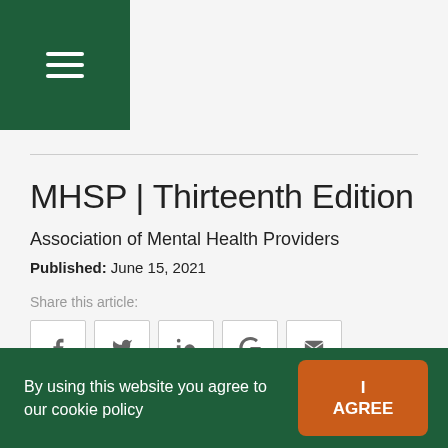[Figure (logo): Dark green square with white hamburger menu icon (three horizontal lines)]
MHSP | Thirteenth Edition
Association of Mental Health Providers
Published: June 15, 2021
Share this article:
[Figure (other): Row of five social share icon buttons: Facebook, Twitter, LinkedIn, Google+, Email]
By using this website you agree to our cookie policy
I AGREE